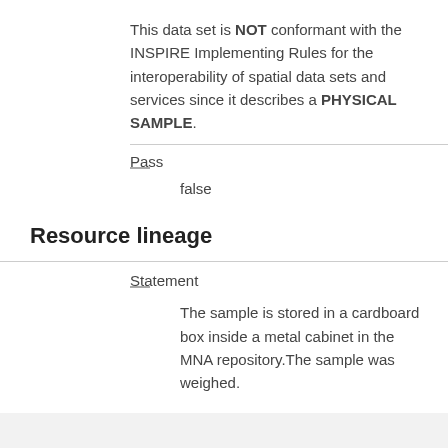This data set is NOT conformant with the INSPIRE Implementing Rules for the interoperability of spatial data sets and services since it describes a PHYSICAL SAMPLE.
Pass
false
Resource lineage
Statement
The sample is stored in a cardboard box inside a metal cabinet in the MNA repository.The sample was weighed.